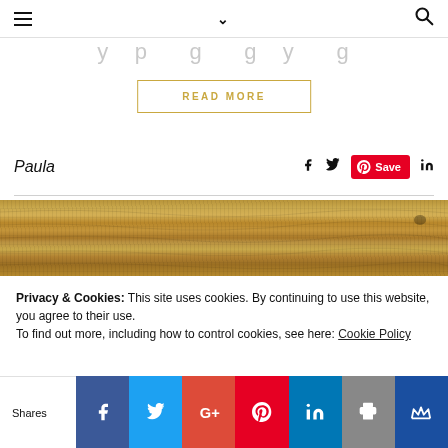Navigation bar with hamburger menu, chevron dropdown, and search icon
y p g y g
READ MORE
Paula
[Figure (photo): Close-up of wood grain texture with golden/brown tones]
Privacy & Cookies: This site uses cookies. By continuing to use this website, you agree to their use.
To find out more, including how to control cookies, see here: Cookie Policy
Shares bar with Facebook, Twitter, Google+, Pinterest, LinkedIn, Print, and Crown sharing buttons